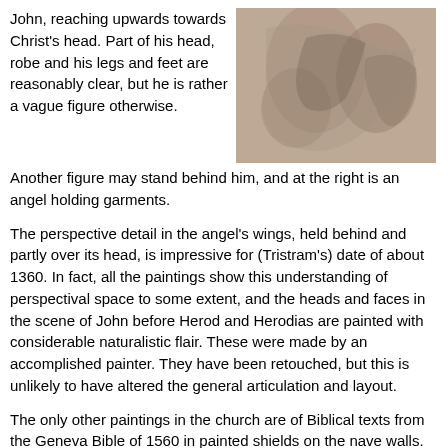John, reaching upwards towards Christ's head. Part of his head, robe and his legs and feet are reasonably clear, but he is rather a vague figure otherwise.
[Figure (photo): A faded, damaged fresco or wall painting showing indistinct religious figures in muted brown and beige tones.]
Another figure may stand behind him, and at the right is an angel holding garments.
The perspective detail in the angel's wings, held behind and partly over its head, is impressive for (Tristram's) date of about 1360. In fact, all the paintings show this understanding of perspectival space to some extent, and the heads and faces in the scene of John before Herod and Herodias are painted with considerable naturalistic flair. These were made by an accomplished painter. They have been retouched, but this is unlikely to have altered the general articulation and layout.
The only other paintings in the church are of Biblical texts from the Geneva Bible of 1560 in painted shields on the nave walls. We know that three of these were made in 1679 by a painter called Robert Ford, and that he was paid three guineas for them.
Paintings of the Baptism of Christ are not common, but there is one other on the site, at Black Bourton in Oxfordshire. Links to paintings